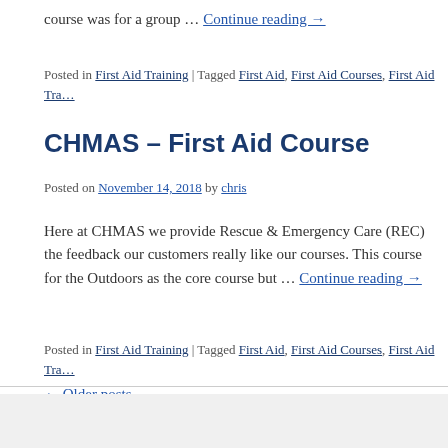course was for a group … Continue reading →
Posted in First Aid Training | Tagged First Aid, First Aid Courses, First Aid Tra…
CHMAS – First Aid Course
Posted on November 14, 2018 by chris
Here at CHMAS we provide Rescue & Emergency Care (REC) the feedback our customers really like our courses. This course for the Outdoors as the core course but … Continue reading →
Posted in First Aid Training | Tagged First Aid, First Aid Courses, First Aid Tra…
← Older posts